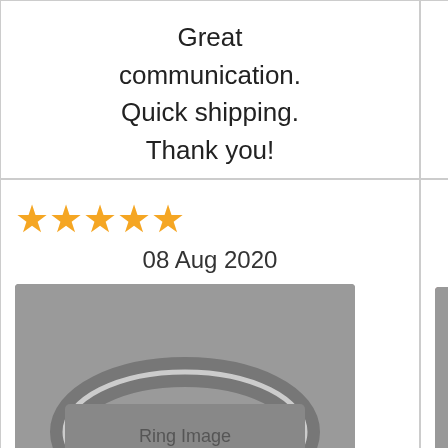Great communication. Quick shipping. Thank you!
Great communication. Quick shipping. Thank you!
Thar
[Figure (photo): Silver ring with Ukrainian trident/Tryzub engraving, dated 08 Aug 2020, 5 star rating]
[Figure (photo): Silver signet ring with textured geometric top in red box, dated 08 Aug, 2020, 5 star rating. Review: Excellent seller, great item]
[Figure (photo): Silver pendant/charm with engraving, dated 07 Au, partial stars visible. Review: Gorgeous pe]